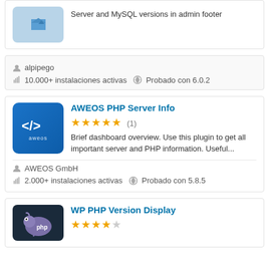[Figure (screenshot): Partial plugin card showing light blue icon with heart/bookmark shape and text 'Server and MySQL versions in admin footer']
Server and MySQL versions in admin footer
alpipego
10.000+ instalaciones activas   Probado con 6.0.2
[Figure (logo): AWEOS plugin icon: blue gradient background with </> code symbol and 'aweos' text]
AWEOS PHP Server Info
★★★★★ (1)
Brief dashboard overview. Use this plugin to get all important server and PHP information. Useful...
AWEOS GmbH
2.000+ instalaciones activas   Probado con 5.8.5
[Figure (screenshot): Partial plugin card showing dark background with PHP elephant logo]
WP PHP Version Display